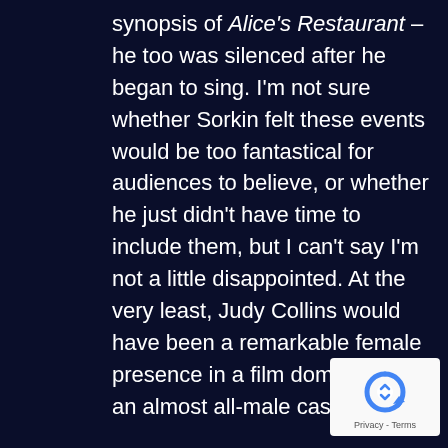synopsis of Alice's Restaurant – he too was silenced after he began to sing. I'm not sure whether Sorkin felt these events would be too fantastical for audiences to believe, or whether he just didn't have time to include them, but I can't say I'm not a little disappointed. At the very least, Judy Collins would have been a remarkable female presence in a film dominated by an almost all-male cast).
[Figure (logo): Google reCAPTCHA badge with circular arrow icon and Privacy - Terms text]